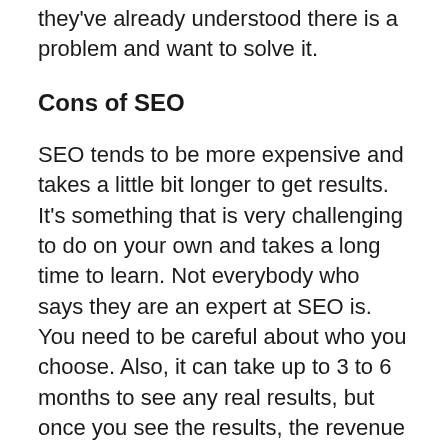they've already understood there is a problem and want to solve it.
Cons of SEO
SEO tends to be more expensive and takes a little bit longer to get results. It's something that is very challenging to do on your own and takes a long time to learn. Not everybody who says they are an expert at SEO is. You need to be careful about who you choose. Also, it can take up to 3 to 6 months to see any real results, but once you see the results, the revenue can be incredible.
Pros of Linku2
Linku2 SMART Sponsor and Deluxe Plans are affordable and yet expose your business to an experienced and well qualified team who